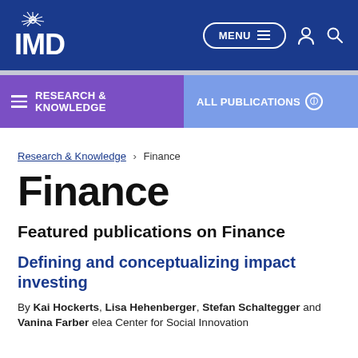[Figure (logo): IMD logo with sunburst icon and navigation bar including MENU button, person icon, and search icon on dark blue background]
RESEARCH & KNOWLEDGE   ALL PUBLICATIONS
Research & Knowledge › Finance
Finance
Featured publications on Finance
Defining and conceptualizing impact investing
By Kai Hockerts, Lisa Hehenberger, Stefan Schaltegger and Vanina Farber elea Center for Social Innovation